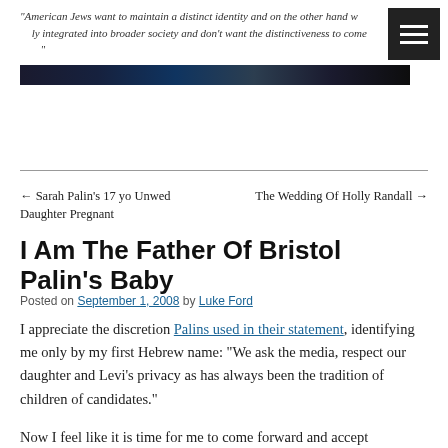"American Jews want to maintain a distinct identity and on the other hand want to be fully integrated into broader society and don't want the distinctiveness to come at a cost."
[Figure (photo): Dark banner/header image strip]
← Sarah Palin's 17 yo Unwed Daughter Pregnant
The Wedding Of Holly Randall →
I Am The Father Of Bristol Palin's Baby
Posted on September 1, 2008 by Luke Ford
I appreciate the discretion Palins used in their statement, identifying me only by my first Hebrew name: "We ask the media, respect our daughter and Levi's privacy as has always been the tradition of children of candidates."
Now I feel like it is time for me to come forward and accept